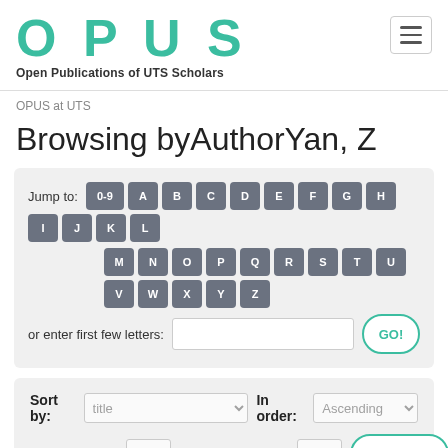OPUS — Open Publications of UTS Scholars
OPUS at UTS
Browsing byAuthorYan, Z
[Figure (screenshot): Jump-to alphabet navigation with keys 0-9, A through Z, an input field, and a GO! button]
[Figure (screenshot): Sort/filter controls: Sort by title dropdown, In order Ascending dropdown, Results/Page 20, Authors/Record All, and UPDATE button]